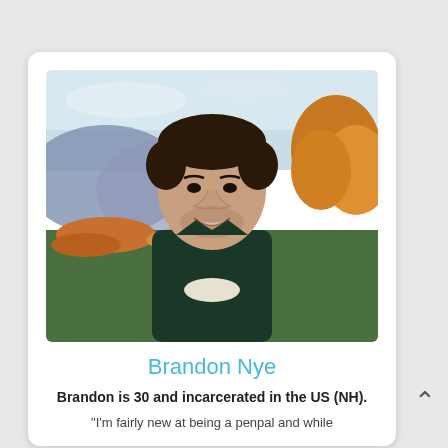[Figure (photo): Portrait photo of a young man smiling, wearing a dark green jacket over a white shirt, with a colorful painted landscape background showing mountains, sky, and autumn foliage.]
Brandon Nye
Brandon is 30 and incarcerated in the US (NH).
"I'm fairly new at being a penpal and while